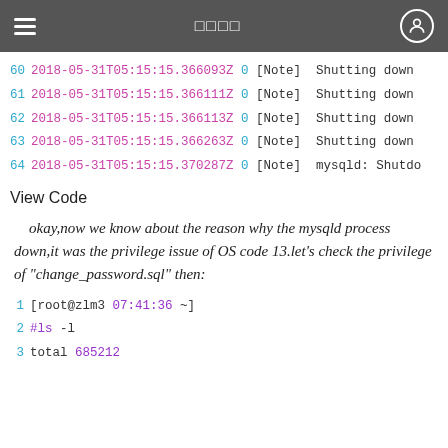≡    □□□□    ⊙
60 2018-05-31T05:15:15.366093Z 0 [Note] Shutting down
61 2018-05-31T05:15:15.366111Z 0 [Note] Shutting down
62 2018-05-31T05:15:15.366113Z 0 [Note] Shutting down
63 2018-05-31T05:15:15.366263Z 0 [Note] Shutting down
64 2018-05-31T05:15:15.370287Z 0 [Note] mysqld: Shutdo
View Code
okay,now we know about the reason why the mysqld process down,it was the privilege issue of OS code 13.let's check the privilege of "change_password.sql" then:
1 [root@zlm3 07:41:36 ~]
2 #ls -l
3 total 685212